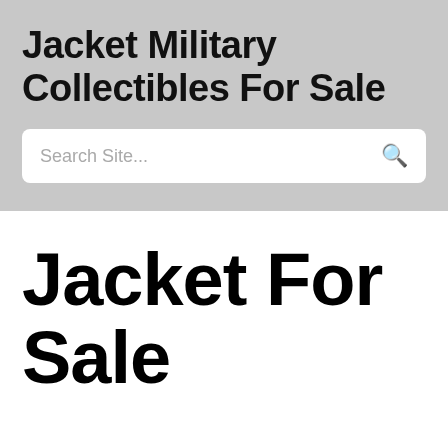Jacket Military Collectibles For Sale
Search Site...
Jacket For Sale